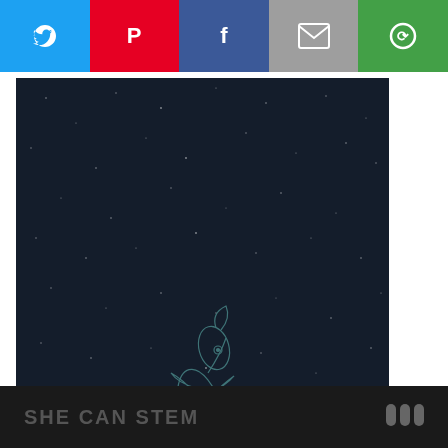[Figure (screenshot): Social media share bar with 5 buttons: Twitter (blue bird icon), Pinterest (red P icon), Facebook (blue f icon), Email (grey envelope icon), and a green circular arrow icon]
[Figure (illustration): Dark navy starfield background with a faint line-art illustration of a shark or fish leaping upward, drawn in teal/grey outline style]
[Figure (other): Teal circular like/heart button on right side]
[Figure (other): White circular share button with share icon on right side]
WHAT'S NEXT → Hearty Party Appetizer...
SHE CAN STEM